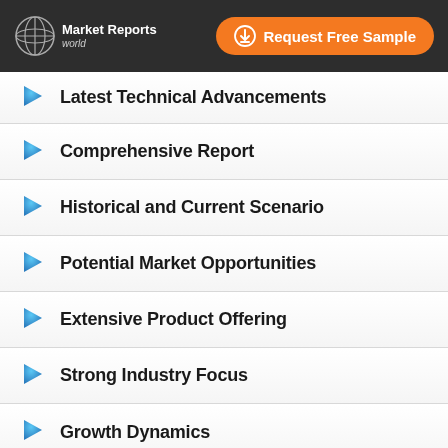Market Reports World | Request Free Sample
Latest Technical Advancements
Comprehensive Report
Historical and Current Scenario
Potential Market Opportunities
Extensive Product Offering
Strong Industry Focus
Growth Dynamics